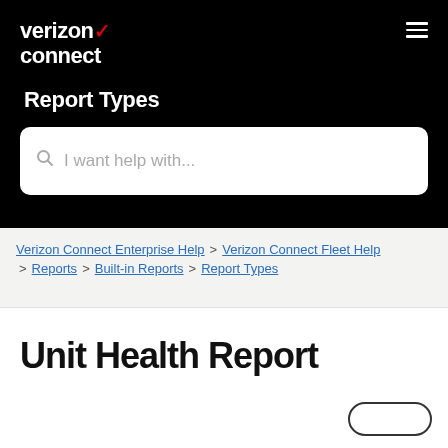verizon connect
Report Types
I want help with...
Verizon Connect Enterprise Help > Verizon Connect Fleet Help > Reports > Built-in Reports > Report Types
Unit Health Report